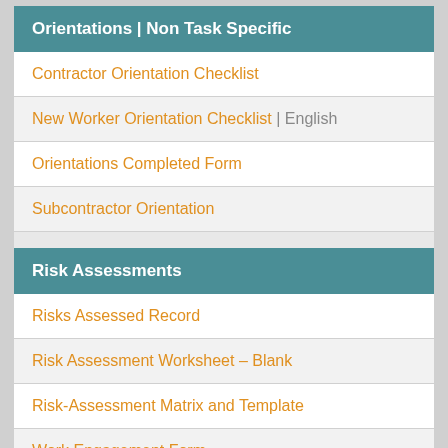Orientations | Non Task Specific
Contractor Orientation Checklist
New Worker Orientation Checklist | English
Orientations Completed Form
Subcontractor Orientation
Risk Assessments
Risks Assessed Record
Risk Assessment Worksheet – Blank
Risk-Assessment Matrix and Template
Work Engagement Form
Safety Meetings
Meetings Held Log